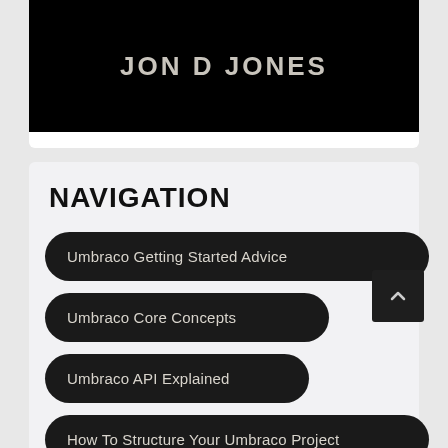JON D JONES
NAVIGATION
Umbraco Getting Started Advice
Umbraco Core Concepts
Umbraco API Explained
How To Structure Your Umbraco Project
Umbraco and MVC